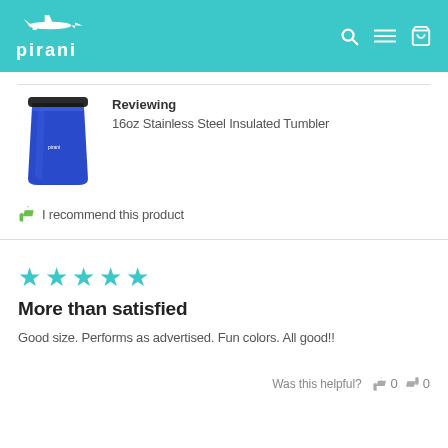pirani
Reviewing
16oz Stainless Steel Insulated Tumbler
[Figure (photo): Blue 16oz Stainless Steel Insulated Tumbler with black lid]
I recommend this product
[Figure (other): Five teal/turquoise filled star rating icons]
More than satisfied
Good size. Performs as advertised. Fun colors. All good!!
Was this helpful?  0  0